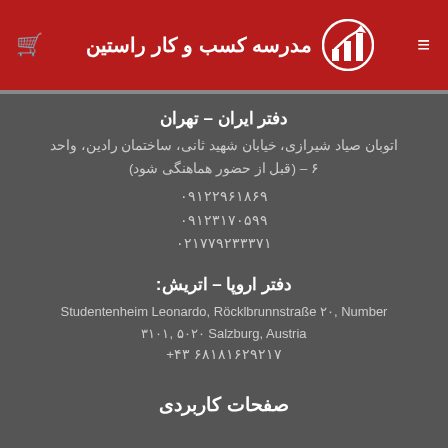مدرسه کسب و کار راستین
دفتر ایران – تهران
اتوبان صیاد شیرازی، خیابان شهید ثانی، ساختمان رادین، واحد ۶ – (قبل از حضور هماهنگی شود)
۰۹۱۲۲۹۶۱۸۶۹
۰۹۱۲۳۱۷۰۵۹۹
۰۲۱۷۷۹۲۳۳۳۷۱
دفتر اروپا – اتریش:
Studentenheim Leonardo, Röcklbrunnstraße ۲۰, Number ۳۱۰۱, ۵۰۲۰ Salzburg, Austria
+۴۳ ۶۸۱۸۱۶۲۹۲۱۷
صفحات کاربردی